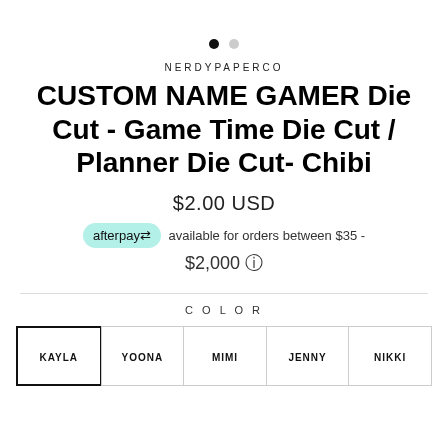[Figure (other): Two carousel navigation dots, one filled black and one gray]
NERDYPAPERCO
CUSTOM NAME GAMER Die Cut - Game Time Die Cut / Planner Die Cut- Chibi
$2.00 USD
afterpay available for orders between $35 - $2,000
COLOR
KAYLA | YOONA | MIMI | JENNY | NIKKI